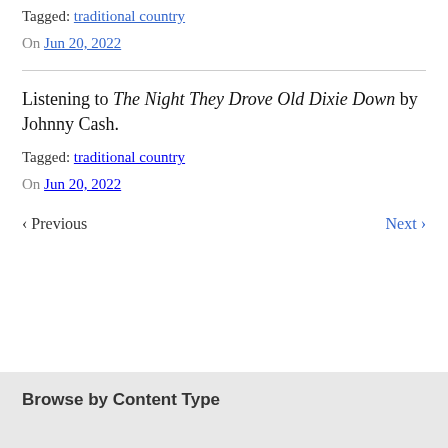Tagged: traditional country
On Jun 20, 2022
Listening to The Night They Drove Old Dixie Down by Johnny Cash.
Tagged: traditional country
On Jun 20, 2022
‹ Previous   Next ›
Browse by Content Type